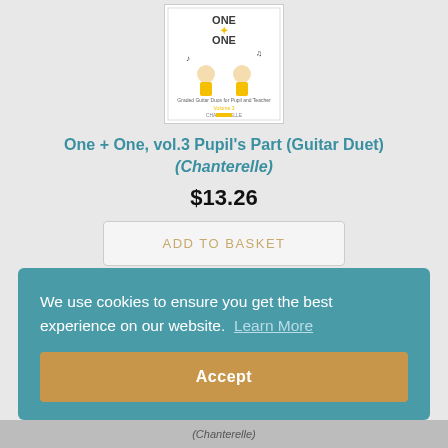[Figure (photo): Book cover thumbnail for One + One vol.3 Pupil's Part Guitar Duet by Chanterelle. Shows two cartoon children playing guitar with musical notes, yellow accents on cover.]
One + One, vol.3 Pupil's Part (Guitar Duet) (Chanterelle)
$13.26
ADD TO BASKET
We use cookies to ensure you get the best experience on our website.  Learn More
Accept
(Chanterelle)